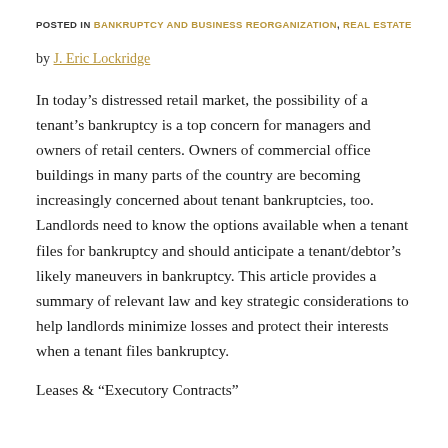POSTED IN BANKRUPTCY AND BUSINESS REORGANIZATION, REAL ESTATE
by J. Eric Lockridge
In today’s distressed retail market, the possibility of a tenant’s bankruptcy is a top concern for managers and owners of retail centers. Owners of commercial office buildings in many parts of the country are becoming increasingly concerned about tenant bankruptcies, too. Landlords need to know the options available when a tenant files for bankruptcy and should anticipate a tenant/debtor’s likely maneuvers in bankruptcy. This article provides a summary of relevant law and key strategic considerations to help landlords minimize losses and protect their interests when a tenant files bankruptcy.
Leases & “Executory Contracts”